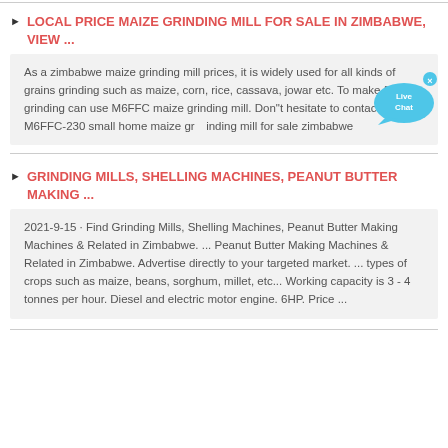LOCAL PRICE MAIZE GRINDING MILL FOR SALE IN ZIMBABWE, VIEW ...
As a zimbabwe maize grinding mill prices, it is widely used for all kinds of grains grinding such as maize, corn, rice, cassava, jowar etc. To make flour grinding can use M6FFC maize grinding mill. Don"t hesitate to contact us. M6FFC-230 small home maize grinding mill for sale zimbabwe
GRINDING MILLS, SHELLING MACHINES, PEANUT BUTTER MAKING ...
2021-9-15 · Find Grinding Mills, Shelling Machines, Peanut Butter Making Machines & Related in Zimbabwe. ... Peanut Butter Making Machines & Related in Zimbabwe. Advertise directly to your targeted market. ... types of crops such as maize, beans, sorghum, millet, etc... Working capacity is 3 - 4 tonnes per hour. Diesel and electric motor engine. 6HP. Price ...